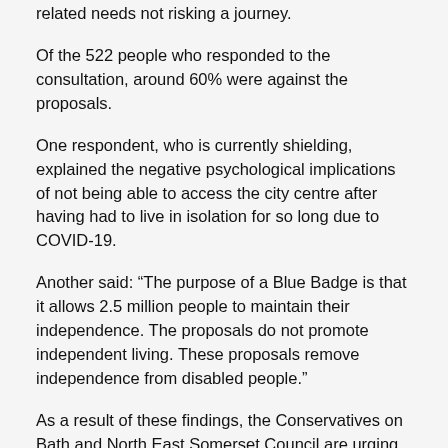related needs not risking a journey.
Of the 522 people who responded to the consultation, around 60% were against the proposals.
One respondent, who is currently shielding, explained the negative psychological implications of not being able to access the city centre after having had to live in isolation for so long due to COVID-19.
Another said: “The purpose of a Blue Badge is that it allows 2.5 million people to maintain their independence. The proposals do not promote independent living. These proposals remove independence from disabled people.”
As a result of these findings, the Conservatives on Bath and North East Somerset Council are urging the Liberal Democrat Administration to scrap the plans immediately and apologise to residents and businesses for the anxiety they have caused.